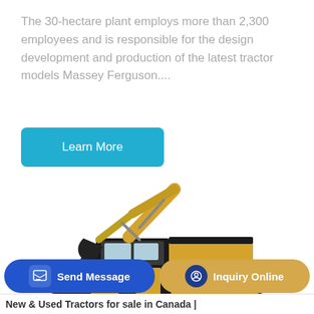The 30-hectare plant employs more than 2,300 employees and is responsible for the design development and production of the latest tractor models Massey Ferguson....
[Figure (other): Blue rounded rectangle button labeled 'Learn More']
[Figure (photo): Yellow SANY excavator/crawler machine on white background]
[Figure (other): Bottom UI bar with 'Send Message' blue button and 'Inquiry Online' gold button]
New & Used Tractors for sale in Canada |